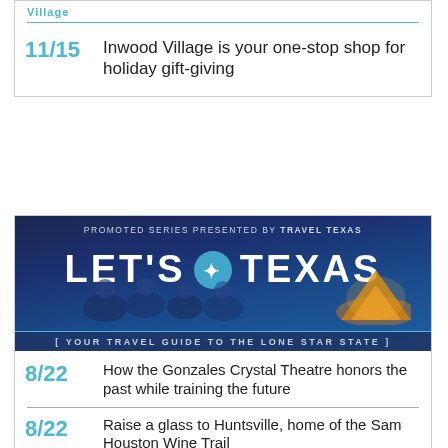11/15 Inwood Village is your one-stop shop for holiday gift-giving
[Figure (illustration): Promoted Series presented by Travel Texas - Let's Texas - Your travel guide to the Lone Star State. Shows people camping at beach with tent at sunset.]
8/22 How the Gonzales Crystal Theatre honors the past while training the future
8/22 Raise a glass to Huntsville, home of the Sam Houston Wine Trail
8/19 Blue Bell Ice Cream is just the start in artsy, barbecue-loving Brenham